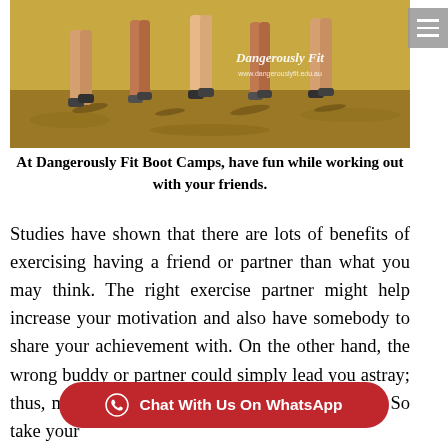[Figure (photo): Photo of people running/jogging in a group outdoors on grass, with 'Dangerously Fit' branding overlay and website URL]
At Dangerously Fit Boot Camps, have fun while working out with your friends.
Studies have shown that there are lots of benefits of exercising having a friend or partner than what you may think. The right exercise partner might help increase your motivation and also have somebody to share your achievement with. On the other hand, the wrong buddy or partner could simply lead you astray; thus, making you lose sight of your fitness goals. So take your friend, m[...] pet and begin exercising. However, there
[Figure (other): Red pill-shaped WhatsApp chat button with WhatsApp icon and text 'Chat With Us On WhatsApp']